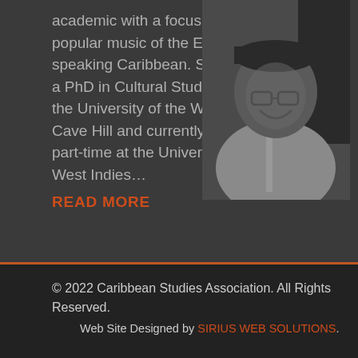academic with a focus on the popular music of the English- speaking Caribbean. Stefan has a PhD in Cultural Studies from the University of the West Indies Cave Hill and currently lectures part-time at the University of the West Indies…
READ MORE
[Figure (photo): Black and white portrait photograph of a smiling man wearing glasses and a light-colored traditional top, with a cap, against a dark background.]
© 2022 Caribbean Studies Association. All Rights Reserved. Web Site Designed by SIRIUS WEB SOLUTIONS.